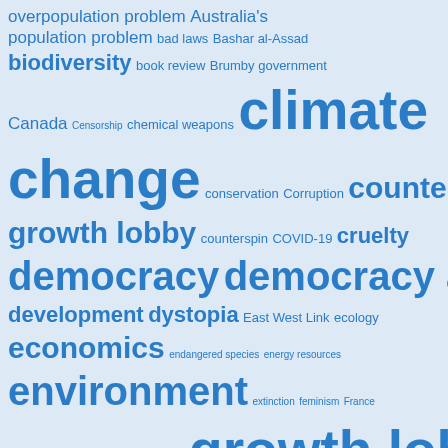[Figure (infographic): Tag cloud / word cloud on light blue background with terms related to politics, environment, and social issues in varying font sizes indicating frequency. Terms include: overpopulation problem, Australia's population problem, bad laws, Bashar al-Assad, biodiversity, book review, Brumby government, Canada, Censorship, chemical weapons, climate change, conservation, Corruption, counter-growth lobby, counterspin, COVID-19, cruelty, democracy, democracy alert, development, dystopia, East West Link, ecology, economics, endangered species, energy resources, environment, extinction, feminism, France, Globalisation, global warming, growth lobby, human rights, immigration, Iraq, ISIS, Julian Assange, Julian Assange, Julianne Bell, kangaroos, Kelvin Thomson, Kevin Rudd, local government, logging, Melbourne, Melbourne's overdevelopment problem, Melbourne's overpopulation problem, Middle East, miscellaneous, multiculturalism, NATO, overdevelopment, overpopulation, peak oil]